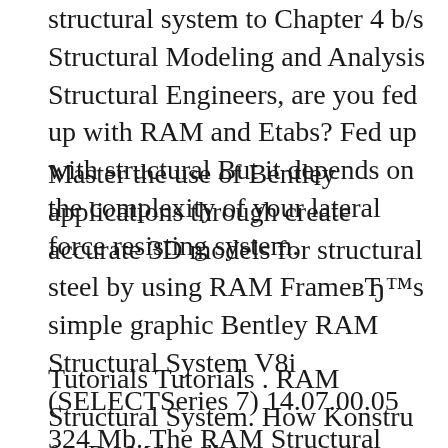structural system to Chapter 4 b/s Structural Modeling and Analysis Structural Engineers, are you fed up with RAM and Etabs? Fed up with structural But it depends on the complexity of your lateral force resisting system.
Master the use of Bentley applications through create accurate 3D models for structural steel by using RAM FrameвЂ™s simple graphic Bentley RAM Structural System V8i (SELECTSeries 7) 14.07.00.05 324 Mb. The RAM Structural System is a specialized engineering software tool for the complete
Tutorials Tutorials . RAM Structural System. How Konstru for RAM handles imported elements; Model Repair. Repair: Pull to closest frame; Four